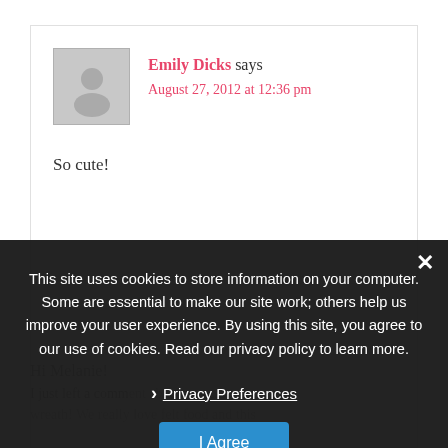Emily Dicks says
August 27, 2012 at 12:36 pm
So cute!
This site uses cookies to store information on your computer. Some are essential to make our site work; others help us improve your user experience. By using this site, you agree to our use of cookies. Read our privacy policy to learn more.
Privacy Preferences
I Agree
Hi Melanie!
I just left a comment about you crayon wreath! We really love felt food and this